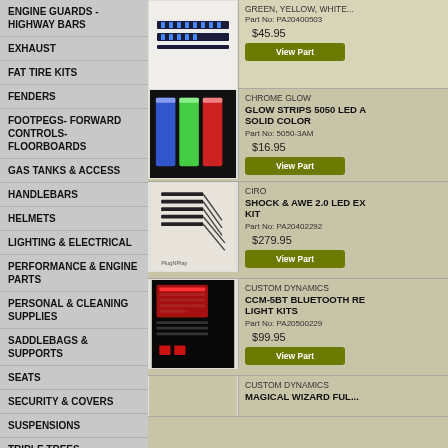ENGINE GUARDS - HIGHWAY BARS
EXHAUST
FAT TIRE KITS
FENDERS
FOOTPEGS- FORWARD CONTROLS-FLOORBOARDS
GAS TANKS & ACCESS
HANDLEBARS
HELMETS
LIGHTING & ELECTRICAL
PERFORMANCE & ENGINE PARTS
PERSONAL & CLEANING SUPPLIES
SADDLEBAGS & SUPPORTS
SEATS
SECURITY & COVERS
SUSPENSIONS
TRIPLE TREES
WHEELS & TIRES
WINDSHIELDS / FAIRINGS & HARDWARE
CUSTOMER RESOURCES
GREEN, YELLOW, WHITE - Part No: PA20400503 - $45.95
CHROME GLOW - GLOW STRIPS 5050 LED A SOLID COLOR - Part No: 5050-3AM - $16.95
CIRO - SHOCK & AWE 2.0 LED EX KIT - Part No: PA20402292 - $279.95
CUSTOM DYNAMICS - CCM-5BT BLUETOOTH RE LIGHT KITS - Part No: PA20500229 - $99.95
CUSTOM DYNAMICS - MAGICAL WIZARD FUL...